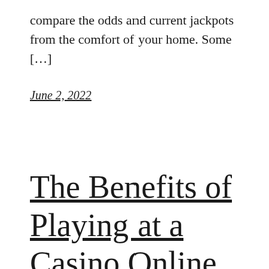compare the odds and current jackpots from the comfort of your home. Some […]
June 2, 2022
The Benefits of Playing at a Casino Online